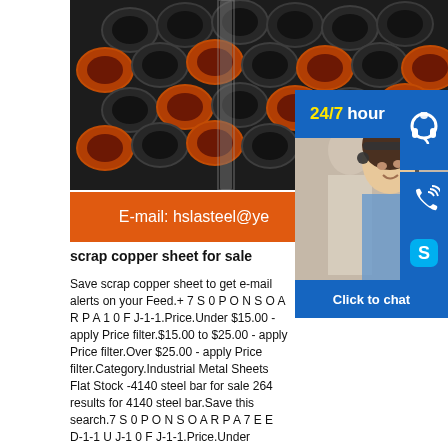[Figure (photo): Stacked steel pipes/tubes with orange painted ends, arranged in rows, industrial setting]
[Figure (photo): Customer service representative smiling with headset, blurred male colleague in background, with overlaid 24/7 hour service badge and contact icons (headset, phone, Skype) and Click to chat button]
E-mail: hslasteel@ye
scrap copper sheet for sale
Save scrap copper sheet to get e-mail alerts on your Feed.+ 7 S 0 P O N S O A R P A 1 0 F J-1-1.Price.Under $15.00 - apply Price filter.$15.00 to $25.00 - apply Price filter.Over $25.00 - apply Price filter.Category.Industrial Metal Sheets Flat Stock -4140 steel bar for sale 264 results for 4140 steel bar.Save this search.7 S 0 P O N S O A R P A 7 E E D-1-1 U J-1 0 F J-1-1.Price.Under $25.00 - apply Price filter.$25.00 to